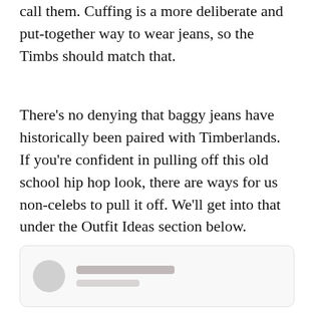call them. Cuffing is a more deliberate and put-together way to wear jeans, so the Timbs should match that.
There's no denying that baggy jeans have historically been paired with Timberlands. If you're confident in pulling off this old school hip hop look, there are ways for us non-celebs to pull it off. We'll get into that under the Outfit Ideas section below.
[Figure (other): A partially visible social media profile card with a circular grey avatar placeholder and two horizontal grey bars representing a username and a subtitle/handle.]